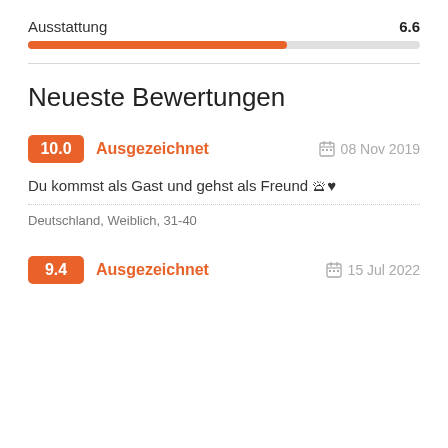Ausstattung 6.6
[Figure (other): Progress bar showing Ausstattung score 6.6 out of 10, orange fill at 66%]
Neueste Bewertungen
10.0 Ausgezeichnet  08 Nov 2019
Du kommst als Gast und gehst als Freund 🛎♥
Deutschland, Weiblich, 31-40
9.4 Ausgezeichnet  15 Jul 2022